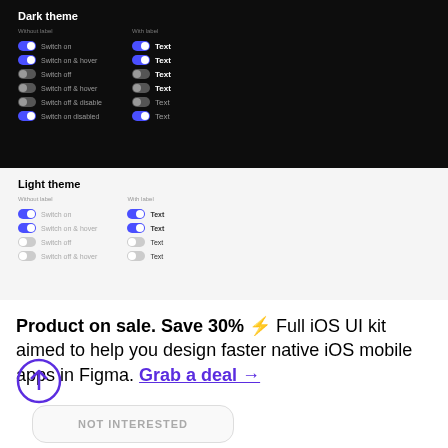[Figure (screenshot): Dark theme UI screenshot showing toggle switches with 'Without label' and 'With label' columns, multiple on/off states in dark mode]
[Figure (screenshot): Light theme UI screenshot showing toggle switches with 'Without label' and 'With label' columns, multiple on/off states in light mode]
Product on sale. Save 30% ⚡ Full iOS UI kit aimed to help you design faster native iOS mobile apps in Figma. Grab a deal →
NOT INTERESTED